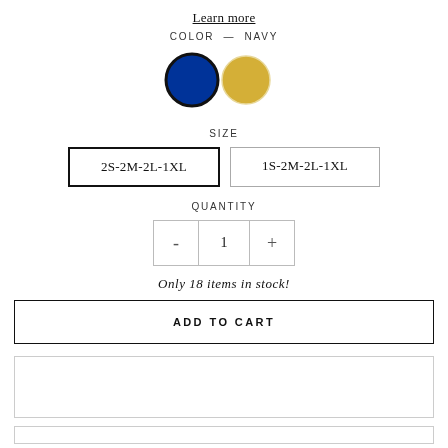Learn more
COLOR — NAVY
[Figure (illustration): Two circular color swatches: left is navy blue with dark border (selected), right is gold/yellow]
SIZE
2S-2M-2L-1XL
1S-2M-2L-1XL
QUANTITY
- 1 +
Only 18 items in stock!
ADD TO CART